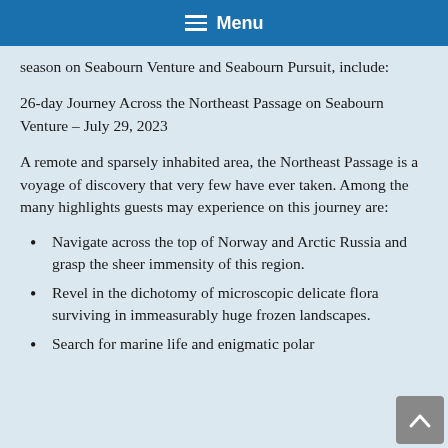Menu
season on Seabourn Venture and Seabourn Pursuit, include:
26-day Journey Across the Northeast Passage on Seabourn Venture – July 29, 2023
A remote and sparsely inhabited area, the Northeast Passage is a voyage of discovery that very few have ever taken. Among the many highlights guests may experience on this journey are:
Navigate across the top of Norway and Arctic Russia and grasp the sheer immensity of this region.
Revel in the dichotomy of microscopic delicate flora surviving in immeasurably huge frozen landscapes.
Search for marine life and enigmatic polar